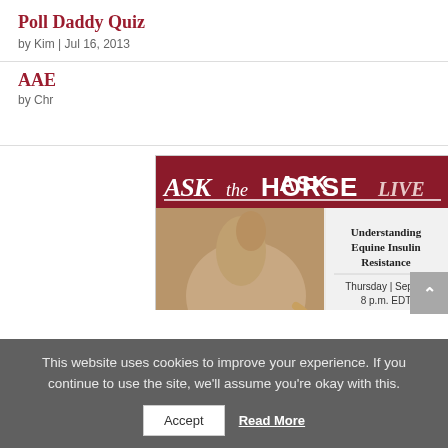Poll Daddy Quiz
by Kim | Jul 16, 2013
AAE
by Chr
[Figure (advertisement): Ask the Horse Live advertisement banner featuring a white horse, with text: Understanding Equine Insulin Resistance, Thursday | Sept. 8, 8 p.m. EDT, Sponsored by: Wellness Ready, Submit Question button]
This website uses cookies to improve your experience. If you continue to use the site, we'll assume you're okay with this.
Accept  Read More